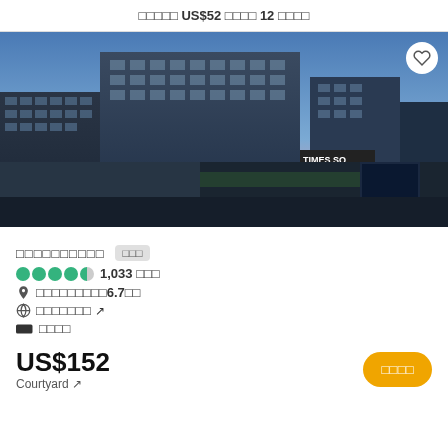□□□□□ US$52 □□□□ 12 □□□□
[Figure (photo): Exterior night/dusk photo of a modern glass hotel building complex with 'TIMES SQ' signage visible, city skyline at twilight with blue and pink sky]
□□□□□□□□□□  □□□
●●●●◐  1,033 □□□
📍 □□□□□□□□□6.7□□
🌐 □□□□□□□ ↗
🏷 □□□□
US$152
Courtyard ↗
□□□□